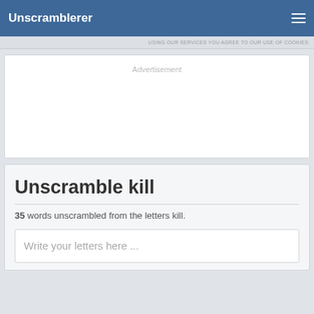Unscramblerer
USING OUR SERVICES YOU AGREE TO OUR USE OF COOKIES
[Figure (other): Advertisement placeholder box]
Unscramble kill
35 words unscrambled from the letters kill.
Write your letters here ...